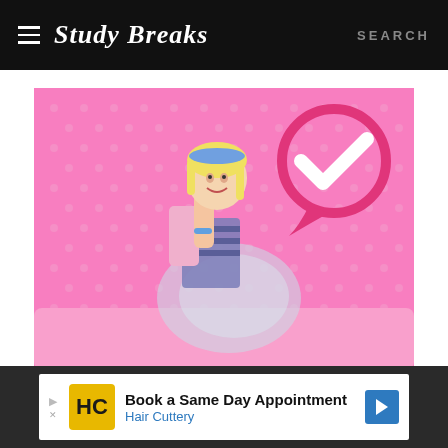Study Breaks — SEARCH
[Figure (photo): Barbie movie promotional image: woman dressed as Barbie with blonde hair, blue headband, sitting in a pink convertible car against a pink polka-dot background, with a large pink checkmark/speech bubble graphic in the upper right]
SCREENS
[Figure (other): Advertisement: Book a Same Day Appointment — Hair Cuttery, with HC logo in yellow and a blue directional arrow icon]